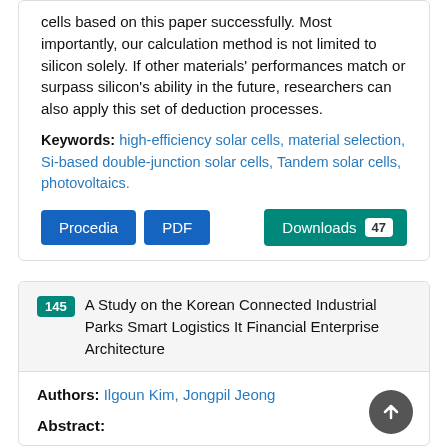cells based on this paper successfully. Most importantly, our calculation method is not limited to silicon solely. If other materials' performances match or surpass silicon's ability in the future, researchers can also apply this set of deduction processes.
Keywords: high-efficiency solar cells, material selection, Si-based double-junction solar cells, Tandem solar cells, photovoltaics.
Procedia  PDF  Downloads 47
145 A Study on the Korean Connected Industrial Parks Smart Logistics It Financial Enterprise Architecture
Authors: Ilgoun Kim, Jongpil Jeong
Abstract: